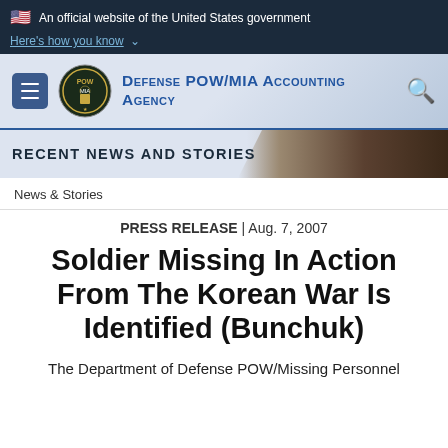An official website of the United States government
Here's how you know
[Figure (logo): Defense POW/MIA Accounting Agency logo with menu button and search icon]
[Figure (photo): Recent News and Stories banner with military personnel in dress uniform]
News & Stories
PRESS RELEASE | Aug. 7, 2007
Soldier Missing In Action From The Korean War Is Identified (Bunchuk)
The Department of Defense POW/Missing Personnel